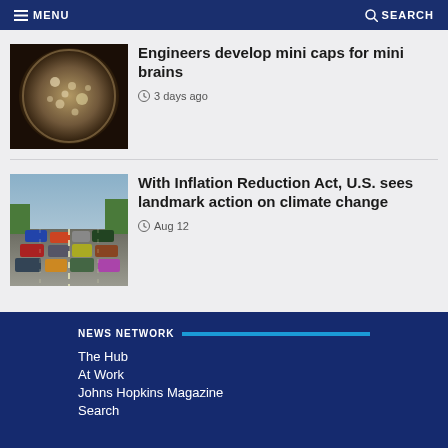MENU   SEARCH
[Figure (photo): Microscopic circular image showing small spherical organoids/mini brains under a dish]
Engineers develop mini caps for mini brains
3 days ago
[Figure (photo): Aerial or street-level view of heavy traffic with many cars on a road]
With Inflation Reduction Act, U.S. sees landmark action on climate change
Aug 12
NEWS NETWORK
The Hub
At Work
Johns Hopkins Magazine
Search